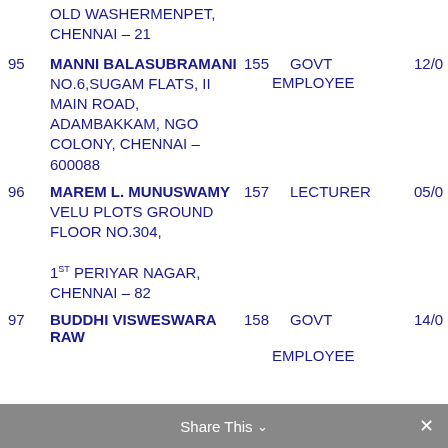OLD WASHERMENPET, CHENNAI – 21
95  MANNI BALASUBRAMANI  155  GOVT  12/0
NO.6,SUGAM FLATS, II MAIN ROAD, ADAMBAKKAM, NGO COLONY, CHENNAI – 600088
EMPLOYEE
96  MAREM L. MUNUSWAMY  157  LECTURER  05/0
VELU PLOTS GROUND FLOOR NO.304,
1ST PERIYAR NAGAR, CHENNAI – 82
97  BUDDHI VISWESWARA RAW  158  GOVT  14/0
EMPLOYEE
Share This